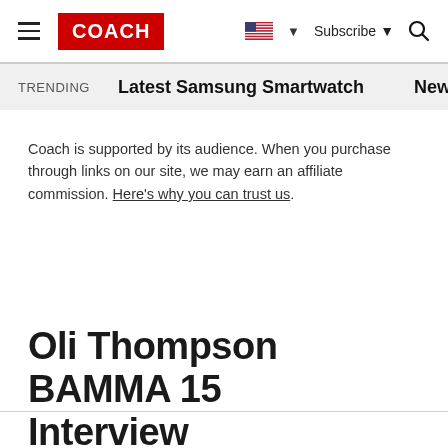COACH — Subscribe
TRENDING   Latest Samsung Smartwatch   New Top G
Coach is supported by its audience. When you purchase through links on our site, we may earn an affiliate commission. Here's why you can trust us.
Oli Thompson BAMMA 15 Interview